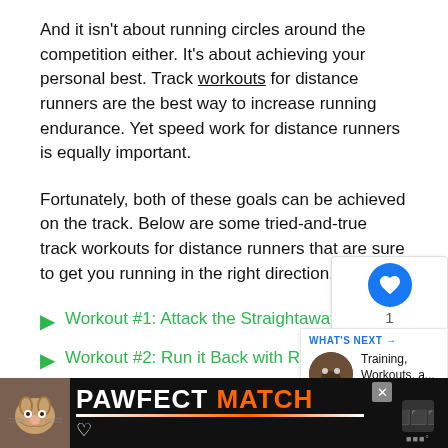And it isn't about running circles around the competition either. It's about achieving your personal best. Track workouts for distance runners are the best way to increase running endurance. Yet speed work for distance runners is equally important.
Fortunately, both of these goals can be achieved on the track. Below are some tried-and-true track workouts for distance runners that are sure to get you running in the right direction.
Workout #1: Attack the Straightaways
Workout #2: Run it Back with Repeats
[Figure (screenshot): PAWFECT MATCH advertisement banner with cat image and orange/white text on black background]